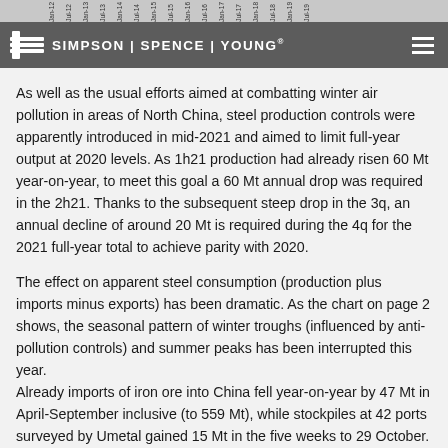SIMPSON | SPENCE | YOUNG
As well as the usual efforts aimed at combatting winter air pollution in areas of North China, steel production controls were apparently introduced in mid-2021 and aimed to limit full-year output at 2020 levels. As 1h21 production had already risen 60 Mt year-on-year, to meet this goal a 60 Mt annual drop was required in the 2h21. Thanks to the subsequent steep drop in the 3q, an annual decline of around 20 Mt is required during the 4q for the 2021 full-year total to achieve parity with 2020.
The effect on apparent steel consumption (production plus imports minus exports) has been dramatic. As the chart on page 2 shows, the seasonal pattern of winter troughs (influenced by anti-pollution controls) and summer peaks has been interrupted this year. Already imports of iron ore into China fell year-on-year by 47 Mt in April-September inclusive (to 559 Mt), while stockpiles at 42 ports surveyed by Umetal gained 15 Mt in the five weeks to 29 October.